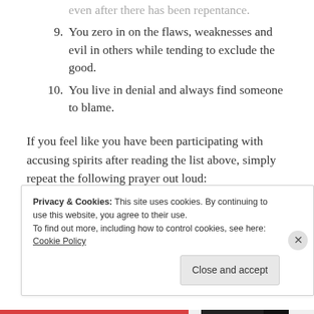even after there has been repentance.
9. You zero in on the flaws, weaknesses and evil in others while tending to exclude the good.
10. You live in denial and always find someone to blame.
If you feel like you have been participating with accusing spirits after reading the list above, simply repeat the following prayer out loud:
Father God, I thank you that there is no condemnation
Privacy & Cookies: This site uses cookies. By continuing to use this website, you agree to their use.
To find out more, including how to control cookies, see here: Cookie Policy
Close and accept